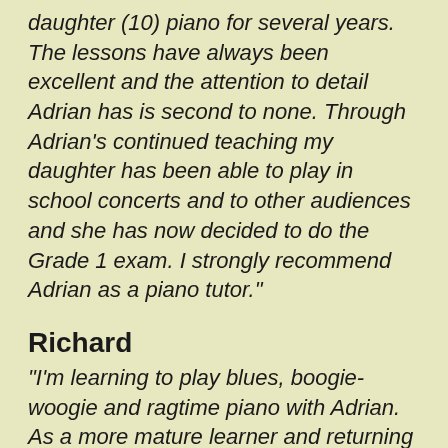daughter (10) piano for several years. The lessons have always been excellent and the attention to detail Adrian has is second to none. Through Adrian's continued teaching my daughter has been able to play in school concerts and to other audiences and she has now decided to do the Grade 1 exam. I strongly recommend Adrian as a piano tutor."
Richard
"I'm learning to play blues, boogie-woogie and ragtime piano with Adrian. As a more mature learner and returning to piano lessons for the first time since childhood, he has been very patient with me and has enabled the undoing of many of the bad habits I have picked up